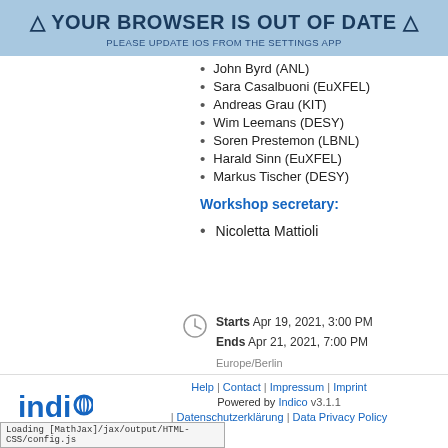[Figure (screenshot): Browser out of date warning banner with blue background]
John Byrd (ANL)
Sara Casalbuoni (EuXFEL)
Andreas Grau (KIT)
Wim Leemans (DESY)
Soren Prestemon (LBNL)
Harald Sinn (EuXFEL)
Markus Tischer (DESY)
Workshop secretary:
Nicoletta Mattioli
Starts Apr 19, 2021, 3:00 PM
Ends Apr 21, 2021, 7:00 PM
Europe/Berlin
Help | Contact | Impressum | Imprint
Powered by Indico v3.1.1
| Datenschutzerklärung | Data Privacy Policy